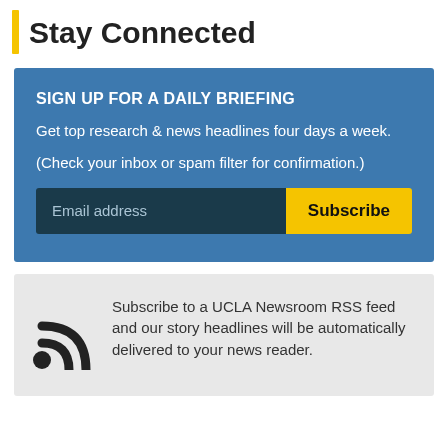Stay Connected
SIGN UP FOR A DAILY BRIEFING
Get top research & news headlines four days a week.
(Check your inbox or spam filter for confirmation.)
[Figure (other): Email address input field and Subscribe button]
[Figure (other): RSS feed icon and text: Subscribe to a UCLA Newsroom RSS feed and our story headlines will be automatically delivered to your news reader.]